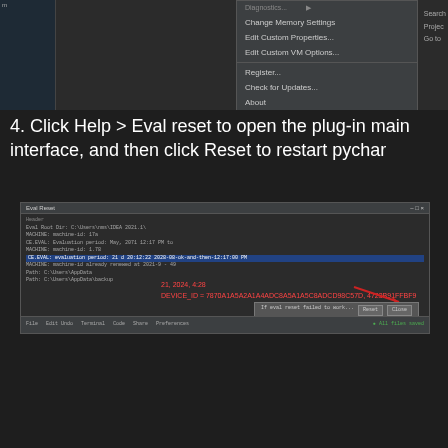[Figure (screenshot): PyCharm Help dropdown menu showing options including Diagnostics, Change Memory Settings, Edit Custom Properties, Edit Custom VM Options, Register, Check for Updates, About, and Eval Reset (highlighted in red box)]
4. Click Help > Eval reset to open the plug-in main interface, and then click Reset to restart pychar
[Figure (screenshot): PyCharm Eval Reset dialog showing log output with a highlighted line in blue, red annotation text pointing to a Reset button in the bottom right]
5. After the restart is completed, click the menu [help] – > [about] to check whether the restart is successful
[Figure (screenshot): PyCharm menu bar showing Run, Tools, VCS, Window, Help (highlighted in blue), 2021 – Administrator, with submenu showing Find Action... Ctrl+Shift+A]